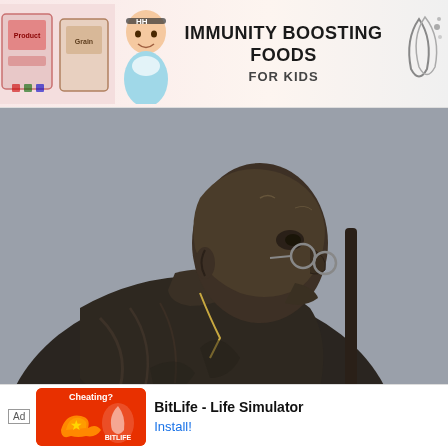[Figure (infographic): Top advertisement banner for Immunity Boosting Foods for Kids, showing food product packages on the left, a baby in the center-left, bold text reading IMMUNITY BOOSTING FOODS FOR KIDS, and a logo on the right.]
[Figure (photo): Black and white/dark photo of a statue of Mahatma Gandhi in profile, wearing round glasses and draping cloth, holding a walking stick, against a grey sky background.]
India's freedom struggle is a fight that spanned centuries, and involved several mutinies and revolutions. We can't get into all this for a toddler and we [...]st
[Figure (infographic): Bottom advertisement banner for BitLife - Life Simulator app showing 'Ad' label, a Cheating? themed icon with muscle/arm graphic on orange background and BitLife logo, with app name BitLife - Life Simulator and Install button.]